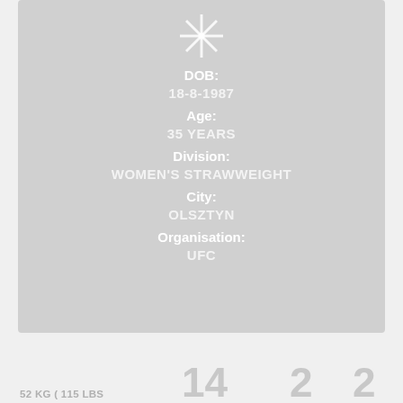[Figure (infographic): Snowflake/asterisk decorative icon in white on gray background]
DOB:
18-8-1987
Age:
35 YEARS
Division:
WOMEN'S STRAWWEIGHT
City:
OLSZTYN
Organisation:
UFC
52 KG ( 115 LBS
14
2
2